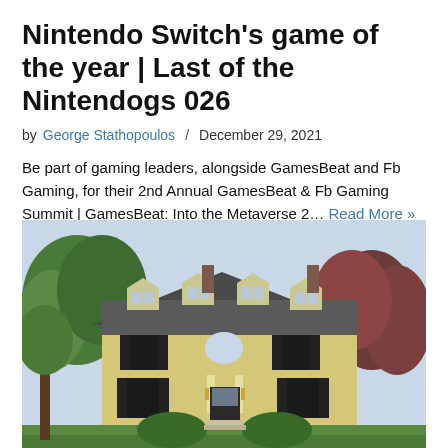Nintendo Switch's game of the year | Last of the Nintendogs 026
by George Stathopoulos / December 29, 2021
Be part of gaming leaders, alongside GamesBeat and Fb Gaming, for their 2nd Annual GamesBeat & Fb Gaming Summit | GamesBeat: Into the Metaverse 2… Read More »
[Figure (photo): Exterior photo of a large yellow colonial-style house with dark shutters, dormer windows, chimneys, and surrounded by green and reddish-purple trees on a summer day.]